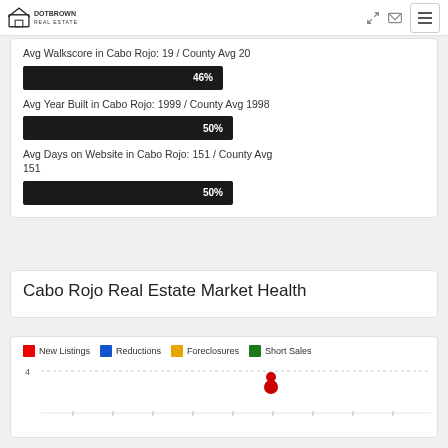DOTBROWN REAL ESTATE
Avg Walkscore in Cabo Rojo: 19 / County Avg 20
[Figure (bar-chart): Walkscore comparison]
Avg Year Built in Cabo Rojo: 1999 / County Avg 1998
[Figure (bar-chart): Year Built comparison]
Avg Days on Website in Cabo Rojo: 151 / County Avg 151
[Figure (bar-chart): Days on Website comparison]
Cabo Rojo Real Estate Market Health
[Figure (line-chart): Line chart showing New Listings, Reductions, Foreclosures, Short Sales over time. Y-axis starts at 4.]